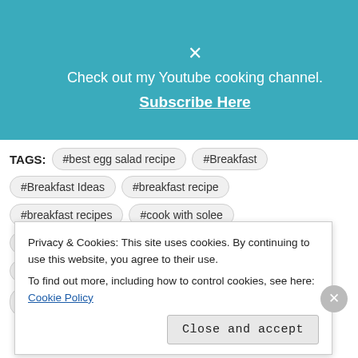[Figure (screenshot): Teal/blue-green banner with close X button, text 'Check out my Youtube cooking channel.' and underlined link 'Subscribe Here']
TAGS: #best egg salad recipe #Breakfast #Breakfast Ideas #breakfast recipe #breakfast recipes #cook with solee #easy egg salad #egg #Egg Recipes #egg salad #egg salad recipe
Privacy & Cookies: This site uses cookies. By continuing to use this website, you agree to their use. To find out more, including how to control cookies, see here: Cookie Policy
Close and accept